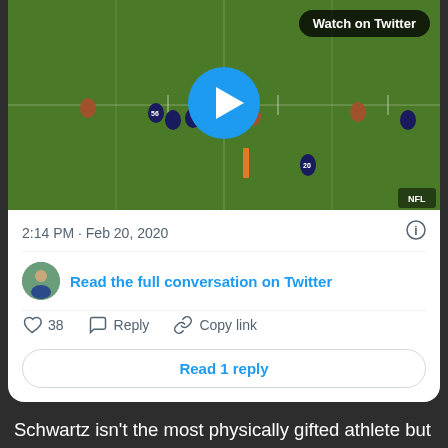[Figure (screenshot): Twitter/X embedded tweet card showing an NFL football video thumbnail with a play button and 'Watch on Twitter' badge. The video shows players on a football field. Below the thumbnail: timestamp '2:14 PM · Feb 20, 2020', info icon, a 'Read the full conversation on Twitter' link with avatar, divider, action row with heart (38), Reply, Copy link, and a 'Read 1 reply' button.]
Schwartz isn't the most physically gifted athlete but he does have tremendous strength when locked on in pass protection. He locks on selling run on this long developing play but then drops his hips and keeps his iron grip on Josh Allen. No matter where Allen tries to go, Schwartz, is there. He keeps his feet moving the entire time. On a lot of the long Mahomes' passes it is completely